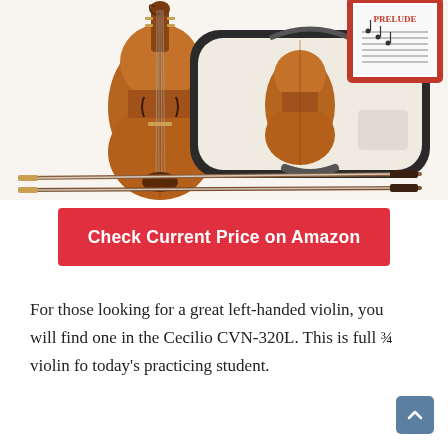[Figure (photo): A violin displayed upright on the left, an open violin case with violin inside in the center-right, two bows laid across the bottom, and a sheet music book (Prelude) visible in the upper right corner.]
Check Current Price on Amazon
For those looking for a great left-handed violin, you will find one in the Cecilio CVN-320L. This is full ¾ violin fo today's practicing student.